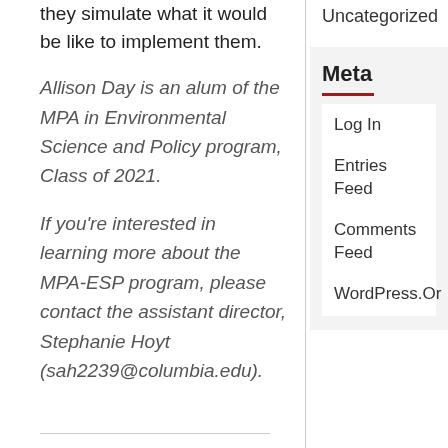they simulate what it would be like to implement them.
Allison Day is an alum of the MPA in Environmental Science and Policy program, Class of 2021.
If you're interested in learning more about the MPA-ESP program, please contact the assistant director, Stephanie Hoyt (sah2239@columbia.edu).
Uncategorized
Meta
Log In
Entries Feed
Comments Feed
WordPress.Or